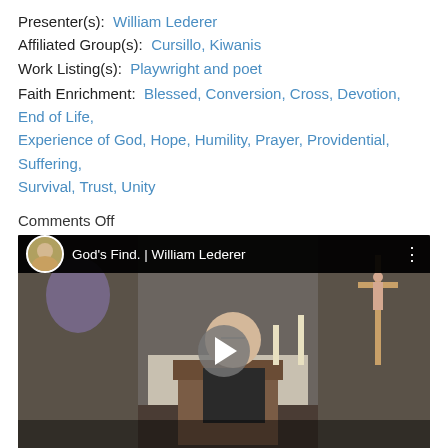Presenter(s): William Lederer
Affiliated Group(s): Cursillo, Kiwanis
Work Listing(s): Playwright and poet
Faith Enrichment: Blessed, Conversion, Cross, Devotion, End of Life, Experience of God, Hope, Humility, Prayer, Providential, Suffering, Survival, Trust, Unity
Comments Off
[Figure (screenshot): YouTube video thumbnail showing a man speaking at a church podium with a crucifix visible in the background. Video title bar reads 'God's Find. | William Lederer' with a circular avatar and three-dot menu. A play button is centered on the image.]
Bill Lederer, a retired fundraiser, will share an experience of being lost in the Grand Canyon. He will tell of a  harrowing